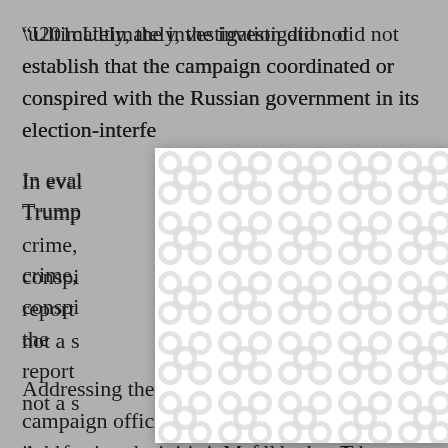“Ultimately, the investigation did not establish that the campaign coordinated or conspired with the Russian government in its election-interference activities.”
In evaluating whether the Trump campaign ... a crime, ... ork of conspiracy ... ,’’’ the report ... ” is not a s...
[Figure (other): A modal dialog box overlay with a repeating circular/bubble pattern background in light grey and white, with an X close button in the top right corner. The modal obscures part of the underlying document text.]
Addressing the question of whether Trump campaign officials coordinated with Russian interference activities, Mueller noted that coordination would require some kind of an